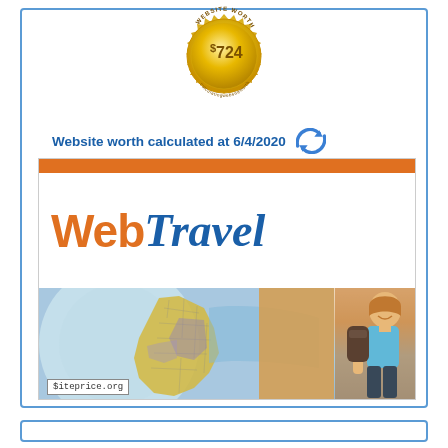[Figure (other): Gold medal/seal badge with text 'WEBSITE WORTH' and value '$ 724' in center]
Website worth calculated at 6/4/2020
[Figure (screenshot): Screenshot of WebTravel website showing 'Web Travel' logo in orange and blue italic text, with a map/globe photo below featuring a woman traveler, and siteprice.org watermark in bottom left]
$iteprice.org